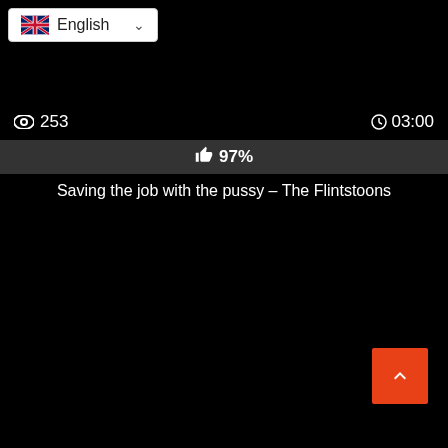[Figure (screenshot): Language selector dropdown showing UK flag and 'English' text with dropdown arrow]
👁 253
⏱03:00
👍 97%
Saving the job with the pussy – The Flintstoons
[Figure (screenshot): Back to top button (orange/red square with upward chevron arrow)]